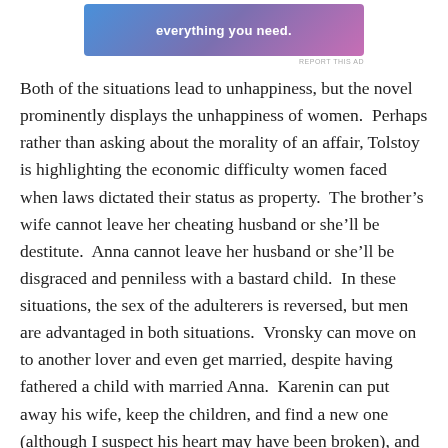[Figure (other): Advertisement banner with gradient background (blue to purple/pink) showing text 'everything you need.' and WordPress.com logo]
Both of the situations lead to unhappiness, but the novel prominently displays the unhappiness of women.  Perhaps rather than asking about the morality of an affair, Tolstoy is highlighting the economic difficulty women faced when laws dictated their status as property.  The brother's wife cannot leave her cheating husband or she'll be destitute.  Anna cannot leave her husband or she'll be disgraced and penniless with a bastard child.  In these situations, the sex of the adulterers is reversed, but men are advantaged in both situations.  Vronsky can move on to another lover and even get married, despite having fathered a child with married Anna.  Karenin can put away his wife, keep the children, and find a new one (although I suspect his heart may have been broken), and Anna's brother can keep his